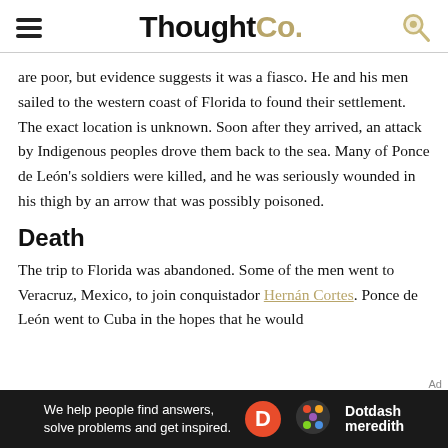ThoughtCo.
are poor, but evidence suggests it was a fiasco. He and his men sailed to the western coast of Florida to found their settlement. The exact location is unknown. Soon after they arrived, an attack by Indigenous peoples drove them back to the sea. Many of Ponce de León's soldiers were killed, and he was seriously wounded in his thigh by an arrow that was possibly poisoned.
Death
The trip to Florida was abandoned. Some of the men went to Veracruz, Mexico, to join conquistador Hernán Cortes. Ponce de León went to Cuba in the hopes that he would
[Figure (other): Dotdash Meredith advertisement banner: 'We help people find answers, solve problems and get inspired.']